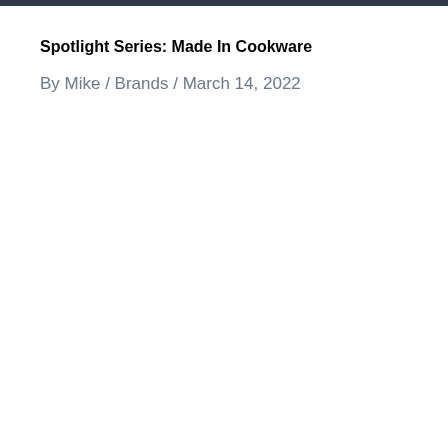Spotlight Series: Made In Cookware
By Mike / Brands / March 14, 2022